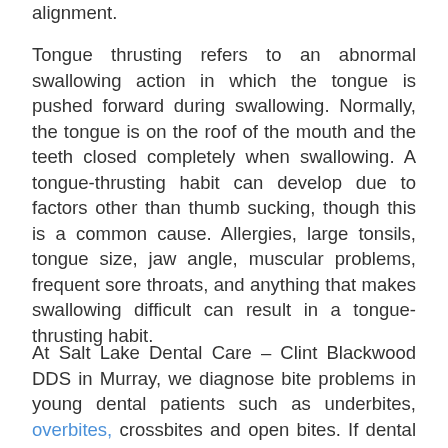alignment.
Tongue thrusting refers to an abnormal swallowing action in which the tongue is pushed forward during swallowing. Normally, the tongue is on the roof of the mouth and the teeth closed completely when swallowing. A tongue-thrusting habit can develop due to factors other than thumb sucking, though this is a common cause. Allergies, large tonsils, tongue size, jaw angle, muscular problems, frequent sore throats, and anything that makes swallowing difficult can result in a tongue-thrusting habit.
At Salt Lake Dental Care – Clint Blackwood DDS in Murray, we diagnose bite problems in young dental patients such as underbites, overbites, crossbites and open bites. If dental treatment is